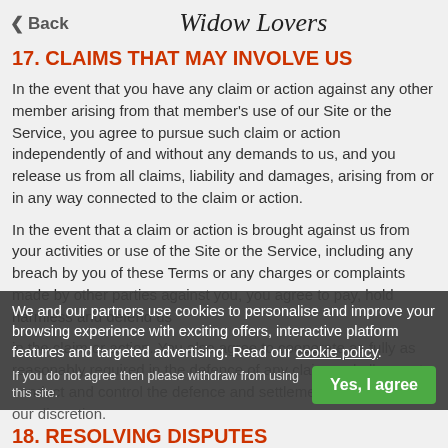Back | Widow Lovers
17. CLAIMS THAT MAY INVOLVE US
In the event that you have any claim or action against any other member arising from that member's use of our Site or the Service, you agree to pursue such claim or action independently of and without any demands to us, and you release us from all claims, liability and damages, arising from or in any way connected to the claim or action.
In the event that a claim or action is brought against us from your activities or use of the Site or the Service, including any breach by you of these Terms or any charges or complaints made by other parties against you, you agree to pay, hold harmless and defend us in the claim or action. You also agree to cooperate as fully as reasonably required in the defence of any claim and allow us to conduct and control the defence and settlement of the matter at our discretion.
We and our partners use cookies to personalise and improve your browsing experience with exciting offers, interactive platform features and targeted advertising. Read our cookie policy. If you do not agree then please withdraw from using this site.
18. RESOLVING DISPUTES